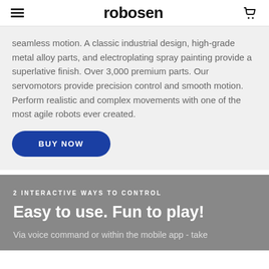robosen
seamless motion. A classic industrial design, high-grade metal alloy parts, and electroplating spray painting provide a superlative finish. Over 3,000 premium parts. Our servomotors provide precision control and smooth motion. Perform realistic and complex movements with one of the most agile robots ever created.
BUY NOW
2 INTERACTIVE WAYS TO CONTROL
Easy to use. Fun to play!
Via voice command or within the mobile app - take